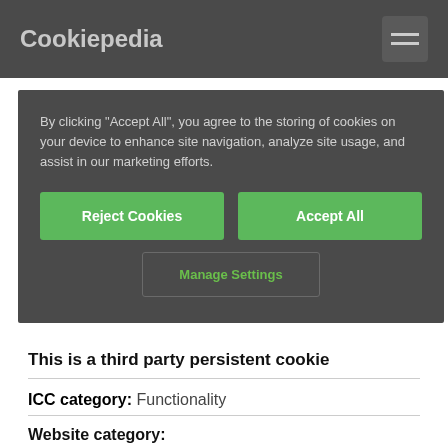Cookiepedia
By clicking "Accept All", you agree to the storing of cookies on your device to enhance site navigation, analyze site usage, and assist in our marketing efforts.
Reject Cookies
Accept All
Manage Settings
cookie will always last until you close down your browser.
This is a third party persistent cookie
ICC category: Functionality
Website category: